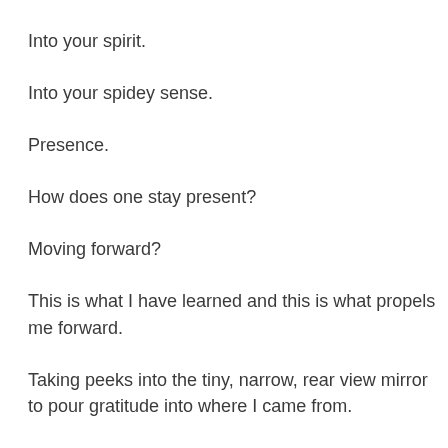Into your spirit.
Into your spidey sense.
Presence.
How does one stay present?
Moving forward?
This is what I have learned and this is what propels me forward.
Taking peeks into the tiny, narrow, rear view mirror to pour gratitude into where I came from.
Gratitude.